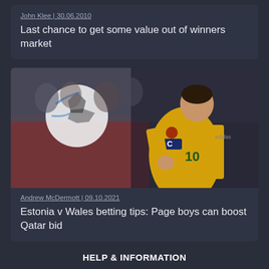John Klee | 30.06.2010
Last chance to get some value out of winners market
[Figure (photo): Football player in yellow Wales kit with number 10, wearing captain's armband, with a football in the background and crowd in stadium]
Andrew McDermott | 09.10.2021
Estonia v Wales betting tips: Page boys can boost Qatar bid
HELP & INFORMATION